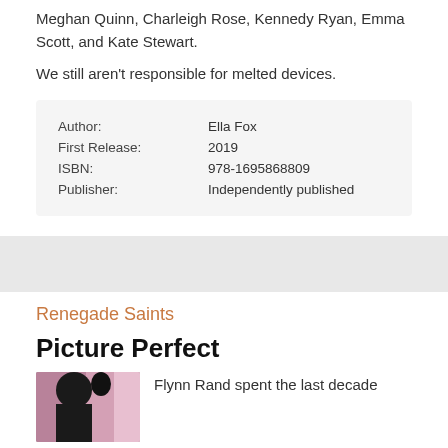Meghan Quinn, Charleigh Rose, Kennedy Ryan, Emma Scott, and Kate Stewart.
We still aren't responsible for melted devices.
| Author: | Ella Fox |
| First Release: | 2019 |
| ISBN: | 978-1695868809 |
| Publisher: | Independently published |
Renegade Saints
Picture Perfect
[Figure (photo): Book cover image for Picture Perfect]
Flynn Rand spent the last decade